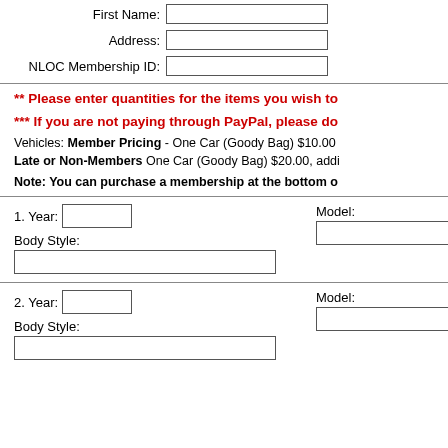First Name:
Address:
NLOC Membership ID:
** Please enter quantities for the items you wish to
*** If you are not paying through PayPal, please do
Vehicles: Member Pricing - One Car (Goody Bag) $10.00  Late or Non-Members One Car (Goody Bag) $20.00, addi
Note: You can purchase a membership at the bottom o
1. Year:
Model:
Body Style:
2. Year:
Model:
Body Style: